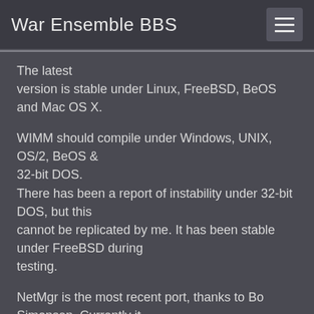War Ensemble BBS
The latest version is stable under Linux, FreeBSD, BeOS and Mac OS X.
WIMM should compile under Windows, UNIX, OS/2, BeOS & 32-bit DOS. There has been a report of instability under 32-bit DOS, but this cannot be replicated by me. It has been stable under FreeBSD during testing.
NetMgr is the most recent port, thanks to Bo Simonsen. Currently it only compiles under UNIX (Linux/FreeBSD) and BeOS. It will probably also compile under Cygwin. It won't compile out of the box for OS/2, Windows or 32-bit DOS using Watcom, but shouldn't need too much work